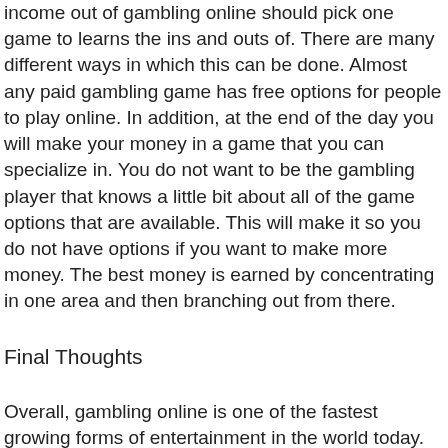income out of gambling online should pick one game to learns the ins and outs of. There are many different ways in which this can be done. Almost any paid gambling game has free options for people to play online. In addition, at the end of the day you will make your money in a game that you can specialize in. You do not want to be the gambling player that knows a little bit about all of the game options that are available. This will make it so you do not have options if you want to make more money. The best money is earned by concentrating in one area and then branching out from there.
Final Thoughts
Overall, gambling online is one of the fastest growing forms of entertainment in the world today. There are millions of players that gamble online every year as a means to earn extra income or to simply have some fun. These tips will help you have more fun and earn more money over time. Always start out small and remember that it is a marathon and not a sprint to succeed in online gambling.